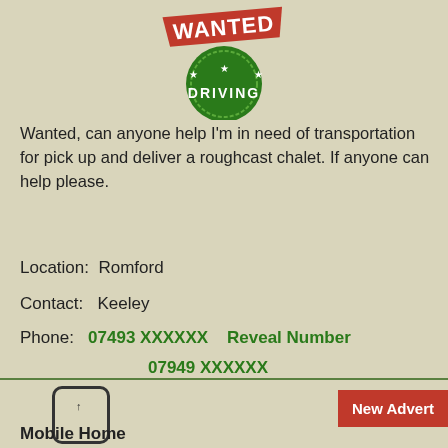[Figure (logo): Wanted Driving badge logo with red banner saying WANTED and green circular badge saying DRIVING with stars]
Wanted, can anyone help I'm in need of transportation for pick up and deliver a roughcast chalet. If anyone can help please.
Location:  Romford
Contact:   Keeley
Phone:   07493 XXXXXX   Reveal Number
07949 XXXXXX
Advice to Buyers | Add to Favourites | Link to Advert
Share (Facebook)
New Advert
Mobile Home